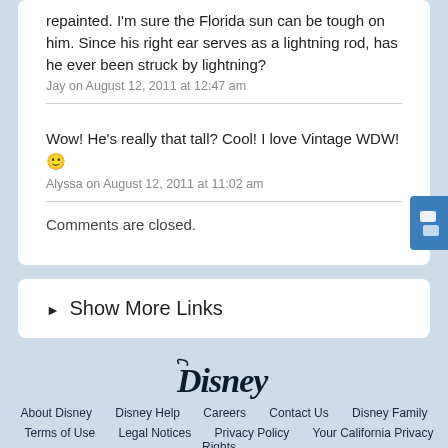repainted. I'm sure the Florida sun can be tough on him. Since his right ear serves as a lightning rod, has he ever been struck by lightning?
Jay on August 12, 2011 at 12:47 am
Wow! He’s really that tall? Cool! I love Vintage WDW! 🙂
Alyssa on August 12, 2011 at 11:02 am
Comments are closed.
► Show More Links
[Figure (logo): Disney logo in dark ink cursive script]
About Disney   Disney Help   Careers   Contact Us   Disney Family   Terms of Use   Legal Notices   Privacy Policy   Your California Privacy Rights